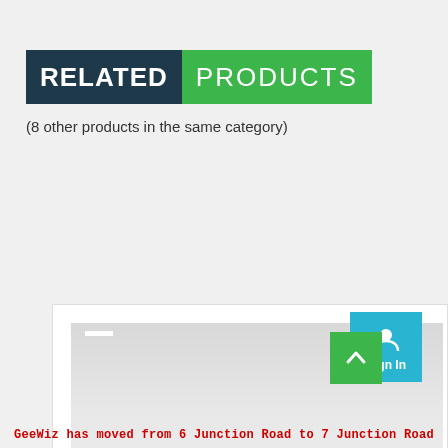RELATED PRODUCTS
(8 other products in the same category)
[Figure (screenshot): A product card/image placeholder with a light grey gradient background, white dash marks in top corners, a cyan Sign In button with a person icon in the top right corner, and a green scroll-to-top arrow button in the bottom right.]
GeeWiz has moved from 6 Junction Road to 7 Junction Road